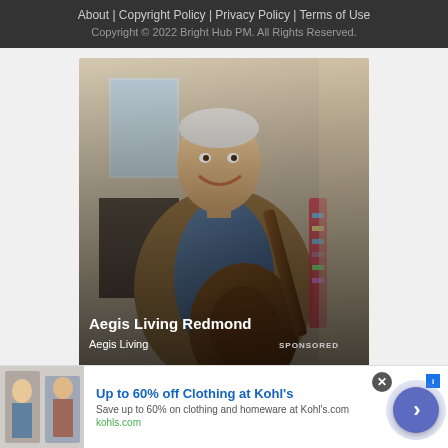About | Copyright Policy | Privacy Policy | Terms of Use
Copyright © 2022 Bright Hub PM. All Rights Reserved.
[Figure (photo): Advertisement photo: elderly man in tan blazer playing guitar, smiling. Overlay text: 'Aegis Living Redmond' / 'Aegis Living' / 'SPONSORED']
ezoic   report this ad
[Figure (photo): Banner advertisement: Up to 60% off Clothing at Kohl's. Save up to 60% on clothing and homeware at Kohl's.com. kohls.com]